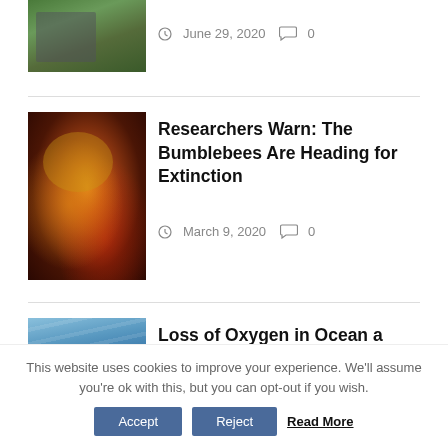[Figure (photo): Partial top image showing green foliage/nature scene, cropped at top]
June 29, 2020  0
[Figure (photo): Close-up macro photo of a bumblebee on colorful flowers]
Researchers Warn: The Bumblebees Are Heading for Extinction
March 9, 2020  0
[Figure (photo): Ocean waves photo with blue-grey stormy water]
Loss of Oxygen in Ocean a Major Threat to Marine Life
January 7, 2020  0
This website uses cookies to improve your experience. We'll assume you're ok with this, but you can opt-out if you wish.